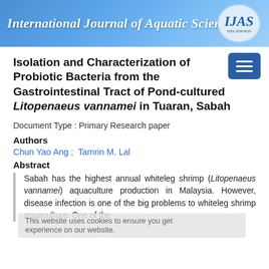International Journal of Aquatic Science
Isolation and Characterization of Probiotic Bacteria from the Gastrointestinal Tract of Pond-cultured Litopenaeus vannamei in Tuaran, Sabah
Document Type : Primary Research paper
Authors
Chun Yao Ang ;  Tamrin M. Lal
Abstract
Sabah has the highest annual whiteleg shrimp (Litopenaeus vannamei) aquaculture production in Malaysia. However, disease infection is one of the big problems to whiteleg shrimp aquaculture. One of the